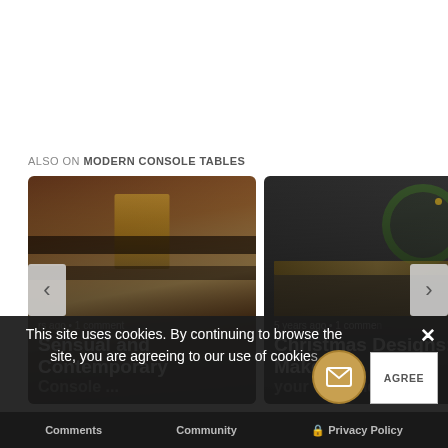ALSO ON MODERN CONSOLE TABLES
[Figure (screenshot): Card 1: Sensual and Contemporary Console article thumbnail – warm brown furniture image with text overlay showing 'rs ago • 1 comment' and title 'Sensual and Contemporary' with subtitle 'Console ...']
[Figure (screenshot): Card 2: Christmas Designs: Make your Console article thumbnail – dark charcoal room with wreath decor, text overlay showing '5 years ago • 1 comment' and title 'Christmas Designs: Make your Console ...']
This site uses cookies. By continuing to browse the site, you are agreeing to our use of cookies.
Comments   Community   Privacy Policy   AGREE